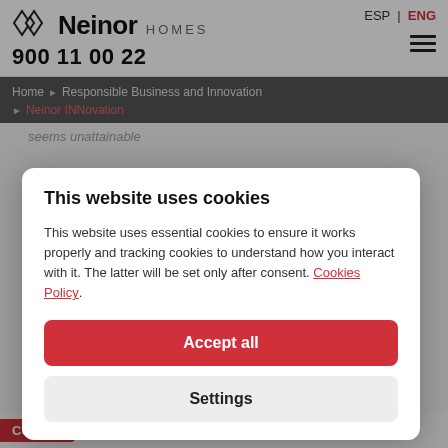[Figure (logo): Neinor Homes logo with diamond/hexagon icon, black bold Neinor text, HOMES in grey spaced letters, phone number 900 11 00 22]
ESP | ENG
Home ▶ Responsible Business and Innovation ▶ Neinor INNovation
seems unattainable
This website uses cookies
This website uses essential cookies to ensure it works properly and tracking cookies to understand how you interact with it. The latter will be set only after consent. Cookies Policy.
Accept all
Settings
edge that provide greater added value. Diversity is a